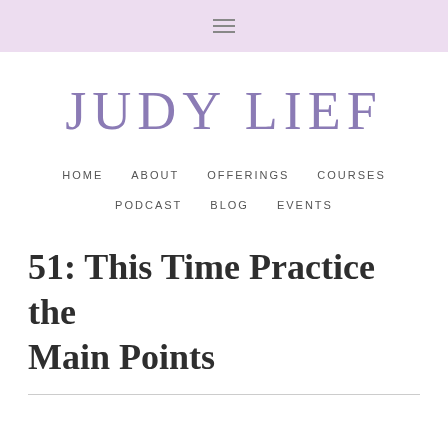≡
JUDY LIEF
HOME   ABOUT   OFFERINGS   COURSES   PODCAST   BLOG   EVENTS
51: This Time Practice the Main Points